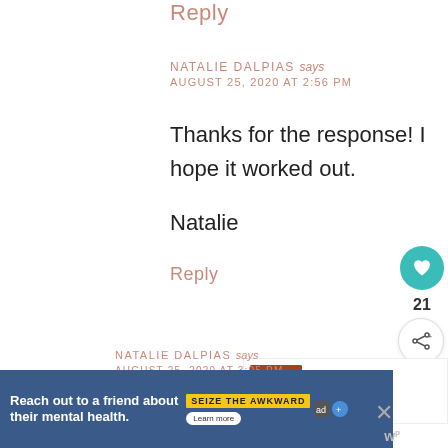Reply
NATALIE DALPIAS says
AUGUST 25, 2020 AT 2:56 PM
Thanks for the response! I hope it worked out.
Natalie
Reply
NATALIE DALPIAS says
AUGUST 25, 2020 AT 3:05 PM
[Figure (infographic): Teal heart/like button with count 21 and share button]
[Figure (infographic): WHAT'S NEXT arrow label with Salsa Recipe for Canning thumbnail]
[Figure (infographic): Ad banner: Reach out to a friend about their mental health. SEIZE THE AWKWARD. Learn more.]